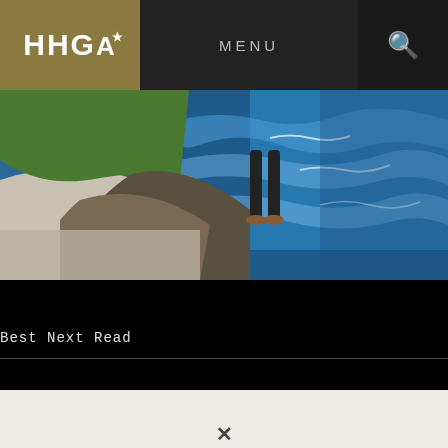[Figure (photo): Hero image of a person standing on rocky coastal cliff overlooking the ocean with waves and green hillside]
HHGA★   MENU   🔍
Best Next Read
[Figure (logo): HHGA logo in white bold text with star superscript on black background]
[Figure (other): Partial decorative X symbol at bottom of page on light background]